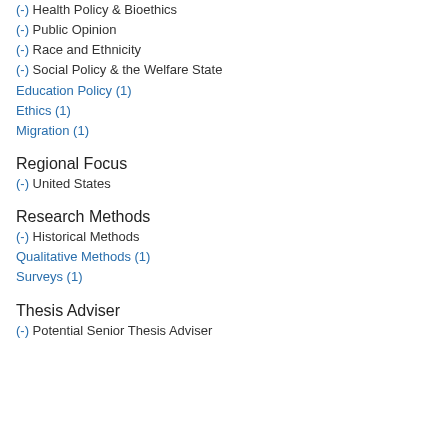(-) Health Policy & Bioethics
(-) Public Opinion
(-) Race and Ethnicity
(-) Social Policy & the Welfare State
Education Policy (1)
Ethics (1)
Migration (1)
Regional Focus
(-) United States
Research Methods
(-) Historical Methods
Qualitative Methods (1)
Surveys (1)
Thesis Adviser
(-) Potential Senior Thesis Adviser